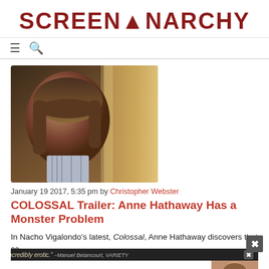SCREENANARCHY
[Figure (photo): Close-up photo of a young woman with bangs looking to her left, near a window with warm golden curtain light]
January 19 2017, 5:35 pm by Christopher Webster
COLOSSAL Trailer: Anne Hathaway Has a Monster Problem
In Nacho Vigalondo's latest, Colossal, Anne Hathaway discovers that ca... rampag... hav... from which she aff... I ha... area ... f
[Figure (other): Advertisement overlay: "Incredibly erotic." -Manuel Betancourt, VARIETY | PRIVATE DESERT movie ad with close-up of a person's face on the right side]